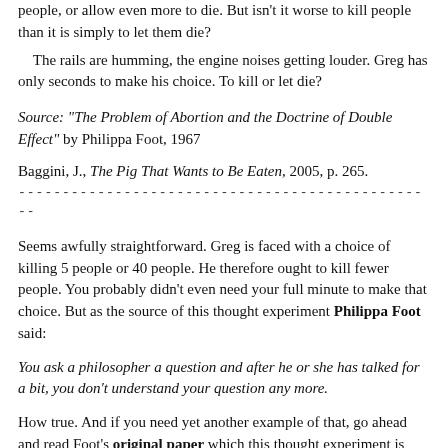people, or allow even more to die. But isn't it worse to kill people than it is simply to let them die?
The rails are humming, the engine noises getting louder. Greg has only seconds to make his choice. To kill or let die?
Source: "The Problem of Abortion and the Doctrine of Double Effect" by Philippa Foot, 1967
Baggini, J., The Pig That Wants to Be Eaten, 2005, p. 265.
Seems awfully straightforward. Greg is faced with a choice of killing 5 people or 40 people. He therefore ought to kill fewer people. You probably didn't even need your full minute to make that choice. But as the source of this thought experiment Philippa Foot said:
You ask a philosopher a question and after he or she has talked for a bit, you don't understand your question any more.
How true. And if you need yet another example of that, go ahead and read Foot's original paper which this thought experiment is based